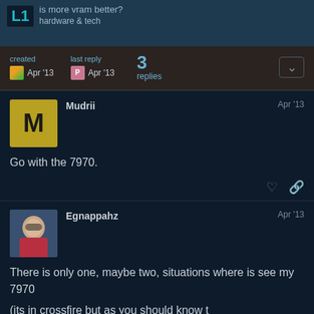is more vram better? | hardware | L1
created Apr '13  last reply Apr '13  3 replies
Mudrii  Apr '13
Go with the 7970.
Egnappahz  Apr '13
There is only one, maybe two, situations where is see my 7970
(its in crossfire but as you should know th the vram)
1 / 4